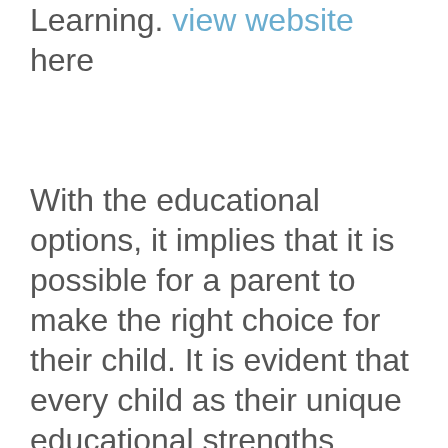Learning. view website here
With the educational options, it implies that it is possible for a parent to make the right choice for their child. It is evident that every child as their unique educational strengths needs, weaknesses and preferences. With that